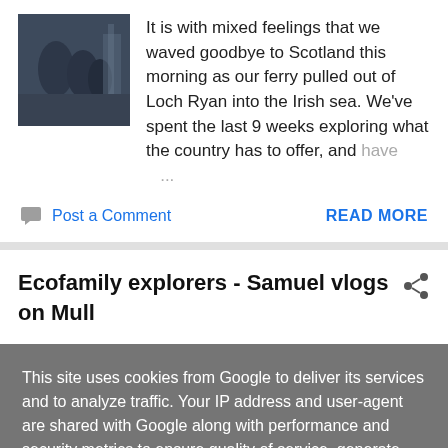[Figure (photo): Thumbnail photo of people on a ferry, dark blue tones]
It is with mixed feelings that we waved goodbye to Scotland this morning as our ferry pulled out of Loch Ryan into the Irish sea. We've spent the last 9 weeks exploring what the country has to offer, and have ...
Post a Comment
READ MORE
Ecofamily explorers - Samuel vlogs on Mull
This site uses cookies from Google to deliver its services and to analyze traffic. Your IP address and user-agent are shared with Google along with performance and security metrics to ensure quality of service, generate usage statistics, and to detect and address abuse.
LEARN MORE   OK